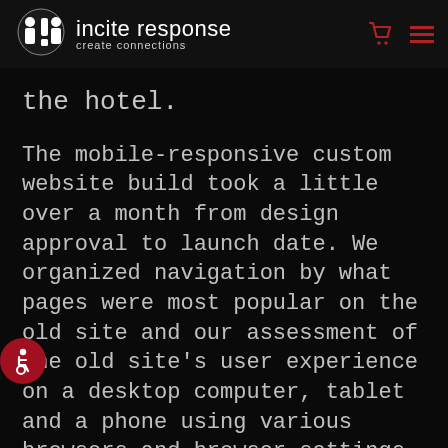incite response — create connections
the hotel.
The mobile-responsive custom website build took a little over a month from design approval to launch date. We organized navigation by what pages were most popular on the old site and our assessment of the old site's user experience on a desktop computer, tablet and a phone using various browsers and browser settings as well as taking into consideration which